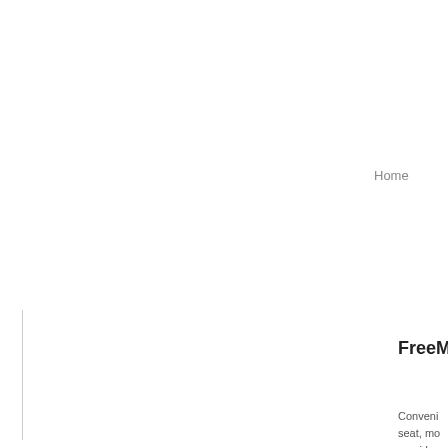Home
FreeM
Conveni seat, mo provide seat rise Release QuickTo users ha console (Electro power to requires noise. T protect a secure f
Quanti